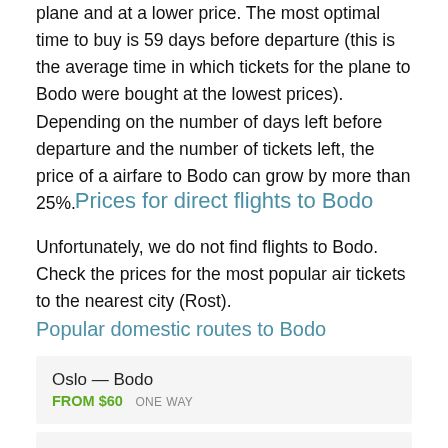plane and at a lower price. The most optimal time to buy is 59 days before departure (this is the average time in which tickets for the plane to Bodo were bought at the lowest prices). Depending on the number of days left before departure and the number of tickets left, the price of a airfare to Bodo can grow by more than 25%.
Prices for direct flights to Bodo
Unfortunately, we do not find flights to Bodo. Check the prices for the most popular air tickets to the nearest city (Rost).
Popular domestic routes to Bodo
| Route | Price | Type | Action |
| --- | --- | --- | --- |
| Oslo — Bodo | FROM $60 | ONE WAY | search |
| Kirkenes — Bodo |  |  | search |